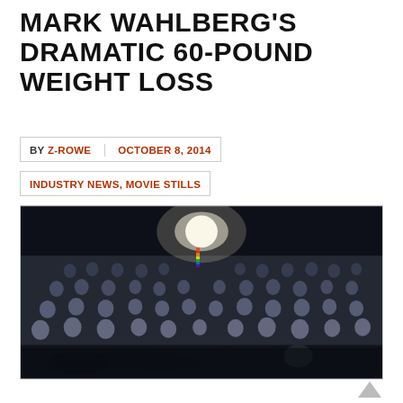MARK WAHLBERG'S DRAMATIC 60-POUND WEIGHT LOSS
BY Z-ROWE   OCTOBER 8, 2014
INDUSTRY NEWS, MOVIE STILLS
[Figure (photo): Movie still showing a person lying on the floor of a lecture hall or auditorium in all black clothes, with an audience of students seated in tiered rows behind, and a bright spotlight visible at the top center of the image.]